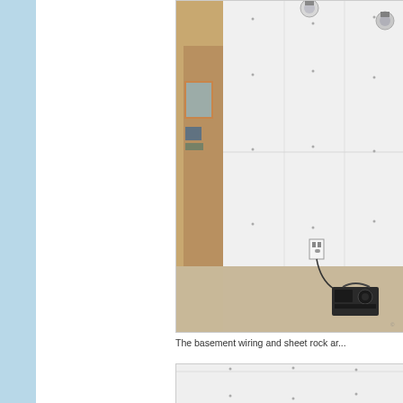[Figure (photo): Basement interior showing drywall/sheet rock installed on walls, with two light fixtures visible at the top, a doorway opening to another room with a window, a wall outlet, and a boombox/radio sitting on the concrete floor]
The basement wiring and sheet rock ar...
[Figure (photo): Partial view of basement drywall/sheet rock, bottom portion of image]